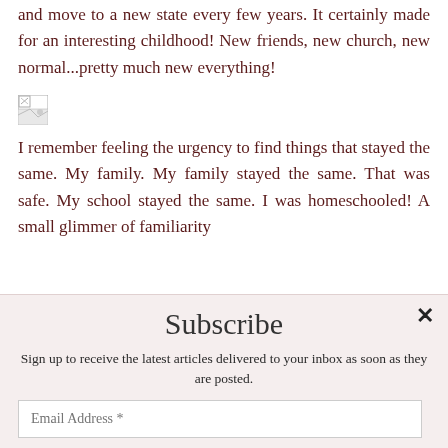and move to a new state every few years. It certainly made for an interesting childhood! New friends, new church, new normal...pretty much new everything!
[Figure (photo): Small broken/placeholder image icon]
I remember feeling the urgency to find things that stayed the same. My family. My family stayed the same. That was safe. My school stayed the same. I was homeschooled! A small glimmer of familiarity
Subscribe
Sign up to receive the latest articles delivered to your inbox as soon as they are posted.
Email Address *